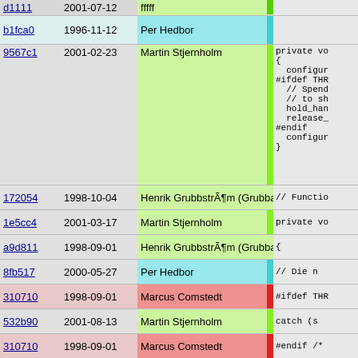| hash | date | author | code |
| --- | --- | --- | --- |
| b1fca0 | 1996-11-12 | Per Hedbor |  |
| 9567c1 | 2001-02-23 | Martin Stjernholm | private vo
{
  configur
#ifdef THR
  // Spend
  // to sh
  hold_han
  release_
#endif
  configur
} |
| 172054 | 1998-10-04 | Henrik GrubbstrÃ¶m (Grubba) | // Functio |
| 1e5cc4 | 2001-03-17 | Martin Stjernholm | private vo |
| a9d811 | 1998-09-01 | Henrik GrubbstrÃ¶m (Grubba) | { |
| 8fb517 | 2000-05-27 | Per Hedbor | // Die n |
| 310710 | 1998-09-01 | Marcus Comstedt | #ifdef THR |
| 532b90 | 2001-08-13 | Martin Stjernholm | catch (s |
| 310710 | 1998-09-01 | Marcus Comstedt | #endif /* |
| b21503 | 2004-05-04 | Henrik GrubbstrÃ¶m (Grubba) | if (!exi |
| c7ca24 | 2004-03-09 | Henrik GrubbstrÃ¶m (Grubba) | // We |